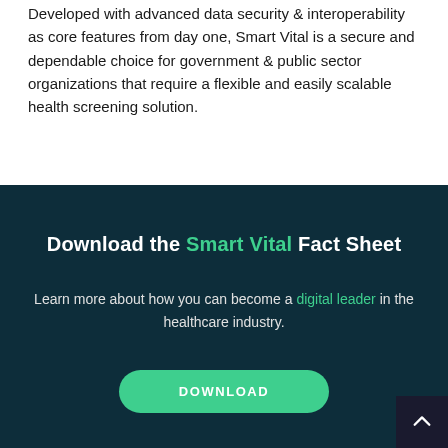Developed with advanced data security & interoperability as core features from day one, Smart Vital is a secure and dependable choice for government & public sector organizations that require a flexible and easily scalable health screening solution.
Download the Smart Vital Fact Sheet
Learn more about how you can become a digital leader in the healthcare industry.
DOWNLOAD